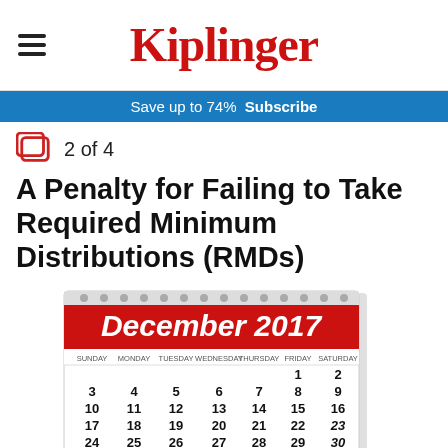Kiplinger
Save up to 74%  Subscribe
2 of 4
A Penalty for Failing to Take Required Minimum Distributions (RMDs)
[Figure (photo): A desk calendar showing December 2017, with days of the week SUNDAY through SATURDAY and all dates 1-31 displayed.]